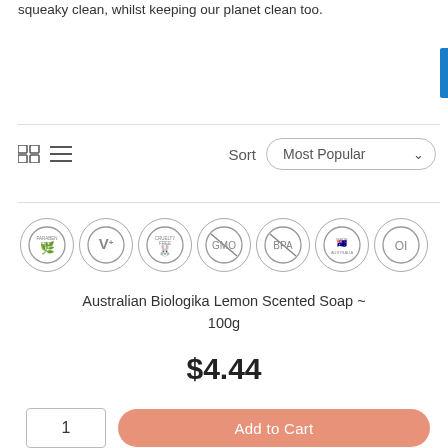squeaky clean, whilst keeping our planet clean too.
[Figure (infographic): Row of 7 circular certification/attribute badges: Paraben Free, V+ (Vegan), Cruelty Free (rabbit), GMO (crossed out), BPA (crossed out), Made in Australia, OI]
Australian Biologika Lemon Scented Soap ~ 100g
$4.44